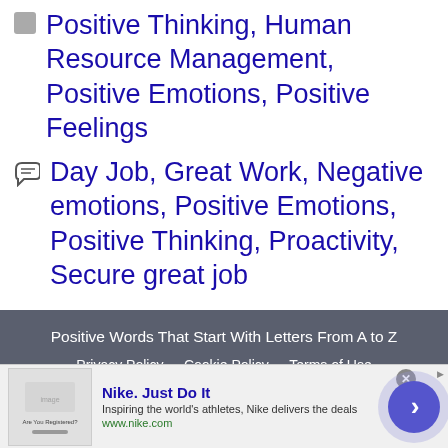Positive Thinking, Human Resource Management, Positive Emotions, Positive Feelings
Day Job, Great Work, Negative emotions, Positive Emotions, Positive Thinking, Proactivity, Secure great job
Positive Words That Start With Letters From A to Z
Privacy Policy    Cookie Policy    Terms of Use
© 2022 Positive Words Research • Built with GeneratePress
[Figure (infographic): Advertisement banner for Nike. Just Do It — Inspiring the world's athletes, Nike delivers the deals. www.nike.com]